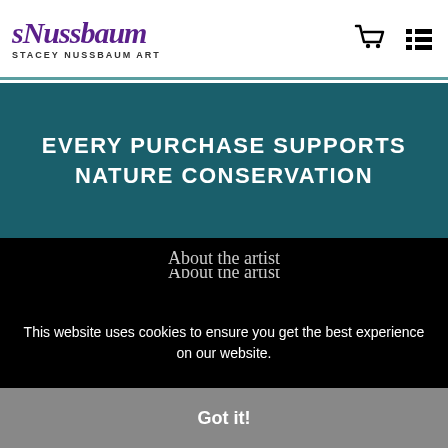sNussbaum STACEY NUSSBAUM ART
EVERY PURCHASE SUPPORTS NATURE CONSERVATION
About the artist
FAQ
Shipping
Returns
Privacy Policy
Stay Updated
This website uses cookies to ensure you get the best experience on our website.
Got it!